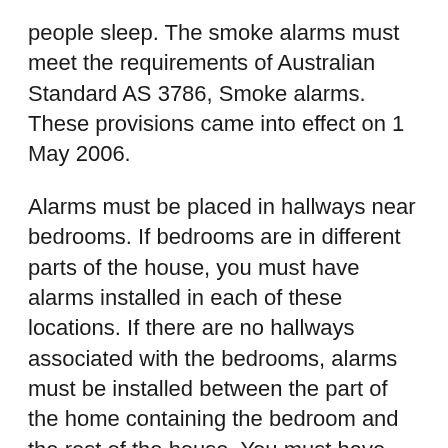people sleep. The smoke alarms must meet the requirements of Australian Standard AS 3786, Smoke alarms. These provisions came into effect on 1 May 2006.
Alarms must be placed in hallways near bedrooms. If bedrooms are in different parts of the house, you must have alarms installed in each of these locations. If there are no hallways associated with the bedrooms, alarms must be installed between the part of the home containing the bedroom and the rest of the house. You must have smoke alarms on all levels of your home even if there are no bedrooms located on that level.
Will older buildings require to be retrofitted with